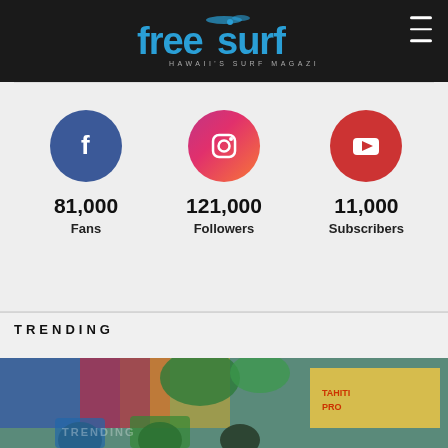[Figure (logo): Freesurf - Hawaii's Surf Magazine logo in blue on dark header background]
[Figure (infographic): Social media stats: Facebook 81,000 Fans, Instagram 121,000 Followers, YouTube 11,000 Subscribers]
Trending
[Figure (photo): Photo of surfers at a surf competition with colorful flags and signage including Tahiti Pro]